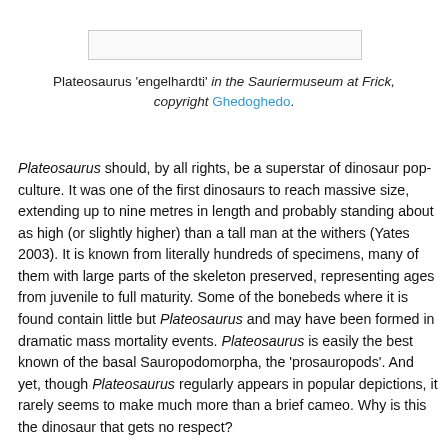[Figure (photo): Image placeholder/thumbnail of Plateosaurus 'engelhardti' in the Sauriermuseum at Frick]
Plateosaurus 'engelhardti' in the Sauriermuseum at Frick, copyright Ghedoghedo.
Plateosaurus should, by all rights, be a superstar of dinosaur pop-culture. It was one of the first dinosaurs to reach massive size, extending up to nine metres in length and probably standing about as high (or slightly higher) than a tall man at the withers (Yates 2003). It is known from literally hundreds of specimens, many of them with large parts of the skeleton preserved, representing ages from juvenile to full maturity. Some of the bonebeds where it is found contain little but Plateosaurus and may have been formed in dramatic mass mortality events. Plateosaurus is easily the best known of the basal Sauropodomorpha, the 'prosauropods'. And yet, though Plateosaurus regularly appears in popular depictions, it rarely seems to make much more than a brief cameo. Why is this the dinosaur that gets no respect?